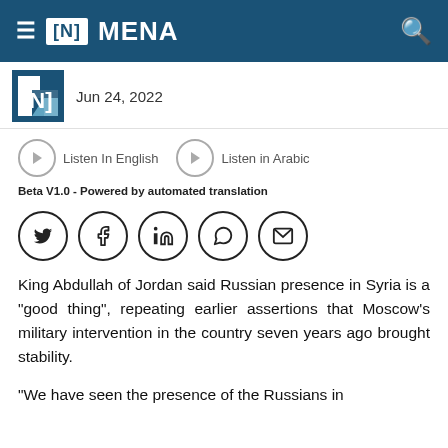≡ [N] MENA
[Figure (logo): The National [N] logo with date Jun 24, 2022]
[Figure (other): Audio listen buttons: Listen In English, Listen in Arabic]
Beta V1.0 - Powered by automated translation
[Figure (other): Social media share icons: Twitter, Facebook, LinkedIn, WhatsApp, Email]
King Abdullah of Jordan said Russian presence in Syria is a "good thing", repeating earlier assertions that Moscow's military intervention in the country seven years ago brought stability.
"We have seen the presence of the Russians in